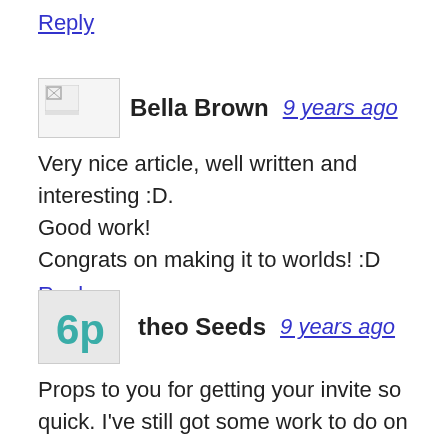Reply
Bella Brown   9 years ago
Very nice article, well written and interesting :D.
Good work!
Congrats on making it to worlds! :D
Reply
theo Seeds   9 years ago
Props to you for getting your invite so quick. I've still got some work to do on